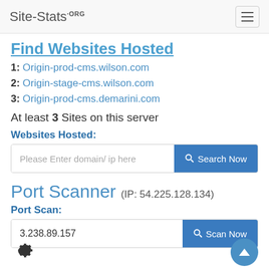Site-Stats.ORG
Find Websites Hosted
1: Origin-prod-cms.wilson.com
2: Origin-stage-cms.wilson.com
3: Origin-prod-cms.demarini.com
At least 3 Sites on this server
Websites Hosted:
Please Enter domain/ ip here
Port Scanner (IP: 54.225.128.134)
Port Scan:
3.238.89.157